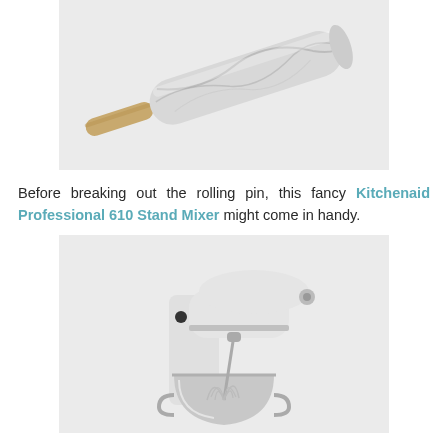[Figure (photo): A marble rolling pin with a wooden handle, photographed diagonally on a light gray background.]
Before breaking out the rolling pin, this fancy Kitchenaid Professional 610 Stand Mixer might come in handy.
[Figure (photo): A white KitchenAid Professional 610 Stand Mixer with a stainless steel bowl and whisk attachment, photographed on a light gray background.]